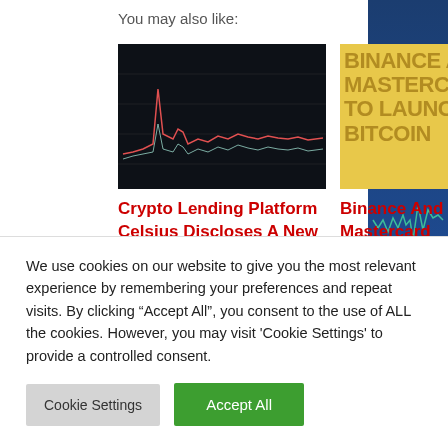You may also like:
[Figure (screenshot): Crypto chart with dark background showing price line graph with spike]
Crypto Lending Platform Celsius Discloses A New Recovery Plan
[Figure (screenshot): Yellow/gold background with large text reading BINANCE AND MASTERCARD TO LAUNCH BITCOIN]
Binance And Mastercard To Launch Bitcoin Rewards Card In Argentina
We use cookies on our website to give you the most relevant experience by remembering your preferences and repeat visits. By clicking "Accept All", you consent to the use of ALL the cookies. However, you may visit 'Cookie Settings' to provide a controlled consent.
Cookie Settings
Accept All